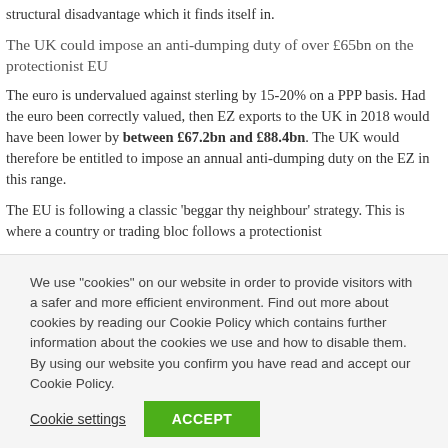structural disadvantage which it finds itself in.
The UK could impose an anti-dumping duty of over £65bn on the protectionist EU
The euro is undervalued against sterling by 15-20% on a PPP basis. Had the euro been correctly valued, then EZ exports to the UK in 2018 would have been lower by between £67.2bn and £88.4bn. The UK would therefore be entitled to impose an annual anti-dumping duty on the EZ in this range.
The EU is following a classic 'beggar thy neighbour' strategy. This is where a country or trading bloc follows a protectionist
We use "cookies" on our website in order to provide visitors with a safer and more efficient environment. Find out more about cookies by reading our Cookie Policy which contains further information about the cookies we use and how to disable them. By using our website you confirm you have read and accept our Cookie Policy.
Cookie settings
ACCEPT